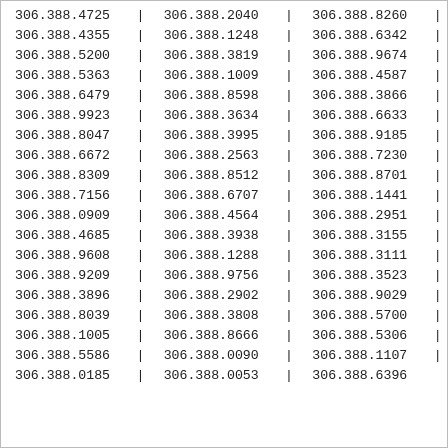| 306.388.4725 | | | 306.388.2040 | | | 306.388.8260 | | |
| 306.388.4355 | | | 306.388.1248 | | | 306.388.6342 | | |
| 306.388.5200 | | | 306.388.3819 | | | 306.388.9674 | | |
| 306.388.5363 | | | 306.388.1009 | | | 306.388.4587 | | |
| 306.388.6479 | | | 306.388.8598 | | | 306.388.3866 | | |
| 306.388.9923 | | | 306.388.3634 | | | 306.388.6633 | | |
| 306.388.8047 | | | 306.388.3995 | | | 306.388.9185 | | |
| 306.388.6672 | | | 306.388.2563 | | | 306.388.7230 | | |
| 306.388.8309 | | | 306.388.8512 | | | 306.388.8701 | | |
| 306.388.7156 | | | 306.388.6707 | | | 306.388.1441 | | |
| 306.388.0909 | | | 306.388.4564 | | | 306.388.2951 | | |
| 306.388.4685 | | | 306.388.3938 | | | 306.388.3155 | | |
| 306.388.9608 | | | 306.388.1288 | | | 306.388.3111 | | |
| 306.388.9209 | | | 306.388.9756 | | | 306.388.3523 | | |
| 306.388.3896 | | | 306.388.2902 | | | 306.388.9029 | | |
| 306.388.8039 | | | 306.388.3808 | | | 306.388.5700 | | |
| 306.388.1005 | | | 306.388.8666 | | | 306.388.5306 | | |
| 306.388.5586 | | | 306.388.0090 | | | 306.388.1107 | | |
| 306.388.0185 | | | 306.388.0053 | | | 306.388.6396 |  |